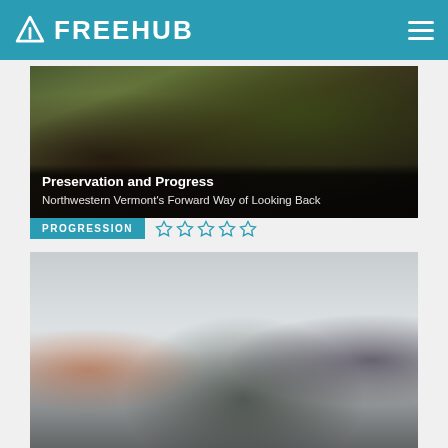FREEHUB
[Figure (photo): Forest trail scene with mossy roots and a mountain bike leaning against a tree in the background]
Preservation and Progress
Northwestern Vermont's Forward Way of Looking Back
PROGRESSION
[Figure (photo): Two cyclists on fat bikes loaded with bikepacking gear riding in a wintry, overcast landscape with frozen water in the background]